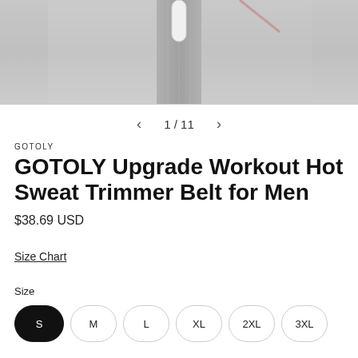[Figure (photo): Top portion of a gray sweat trimmer belt product photo showing a zipper and cord detail]
1 / 11
GOTOLY
GOTOLY Upgrade Workout Hot Sweat Trimmer Belt for Men
$38.69 USD
Size Chart
Size
S
M
L
XL
2XL
3XL